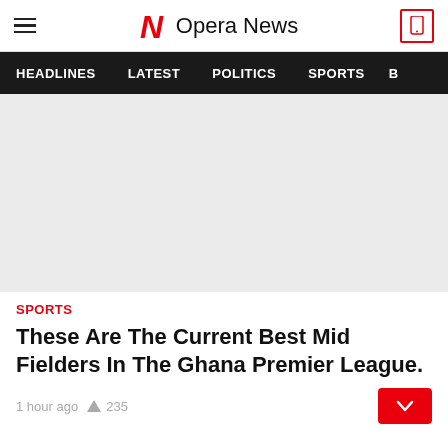Opera News
HEADLINES   LATEST   POLITICS   SPORTS   B
[Figure (photo): Light gray placeholder image for article]
SPORTS
These Are The Current Best Mid Fielders In The Ghana Premier League.
1 hour ago   235